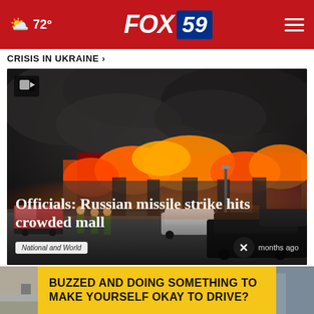☁ 72°  FOX 59
CRISIS IN UKRAINE >
[Figure (photo): Fire and thick black smoke engulf a crowded shopping mall building; firefighters and fire trucks are visible in the foreground, along with parked cars including a dark hatchback in the right foreground.]
Officials: Russian missile strike hits crowded mall
National and World   ×   months ago
BUZZED AND DOING SOMETHING TO MAKE YOURSELF OKAY TO DRIVE?